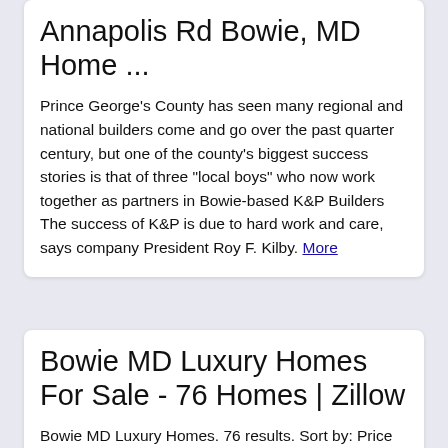Annapolis Rd Bowie, MD Home ...
Prince George's County has seen many regional and national builders come and go over the past quarter century, but one of the county's biggest success stories is that of three "local boys" who now work together as partners in Bowie-based K&P Builders The success of K&P is due to hard work and care, says company President Roy F. Kilby. More
Bowie MD Luxury Homes For Sale - 76 Homes | Zillow
Bowie MD Luxury Homes. 76 results. Sort by: Price (High to Low) Homes for You Price (High to Low) Price (Low to High) Newest Bedrooms